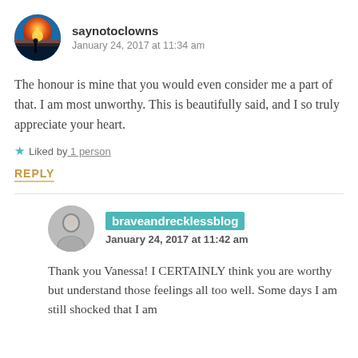[Figure (photo): Circular avatar showing a sunset over water with silhouette of a person]
saynotoclowns
January 24, 2017 at 11:34 am
The honour is mine that you would even consider me a part of that. I am most unworthy. This is beautifully said, and I so truly appreciate your heart.
Liked by 1 person
REPLY
[Figure (photo): Circular avatar showing a grayscale portrait of a woman]
braveandrecklessblog
January 24, 2017 at 11:42 am
Thank you Vanessa! I CERTAINLY think you are worthy but understand those feelings all too well. Some days I am still shocked that I am